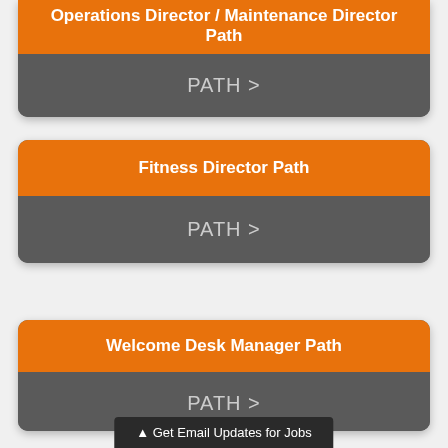Operations Director / Maintenance Director Path
PATH >
Fitness Director Path
PATH >
Welcome Desk Manager Path
PATH >
▲ Get Email Updates for Jobs